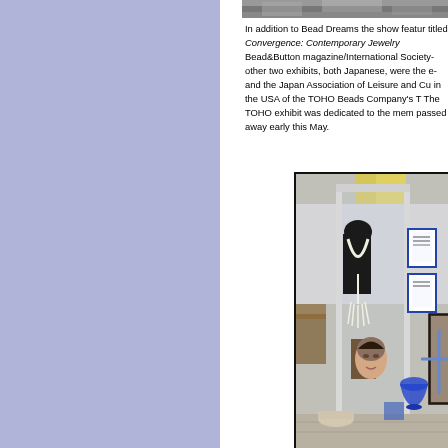[Figure (photo): Top strip of a photo showing beadwork exhibit display]
In addition to Bead Dreams the show featur... titled Convergence: Contemporary Jewelry ... Bead&Button magazine/International Society... other two exhibits, both Japanese, were the e... and the Japan Association of Leisure and Cu... in the USA of the TOHO Beads Company's ... The TOHO exhibit was dedicated to the mem... passed away early this May.
[Figure (photo): Photo of a jewelry/bead exhibit display case showing necklaces on mannequin busts, framed certificates, and decorative objects including a blue glass bowl and figurines]